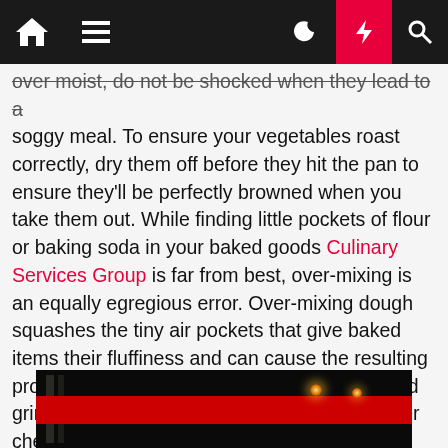[Figure (screenshot): Website navigation bar with home icon, hamburger menu, dark/light toggle (moon), lightning bolt (red background), and search icon on dark background]
over moist, do not be shocked when they lead to a soggy meal. To ensure your vegetables roast correctly, dry them off before they hit the pan to ensure they'll be perfectly browned when you take them out. While finding little pockets of flour or baking soda in your baked goods Culinary Services Group is far from best, over-mixing is an equally egregious error. Over-mixing dough squashes the tiny air pockets that give baked items their fluffiness and can cause the resulting product to turn out to be powerful. She stopped grinding, straightened up, and proudly lifted her chest so Pedro may see it better.
[Figure (photo): Dark photo showing what appears to be red-banded decorative items or candles on a dark background with glowing lights]